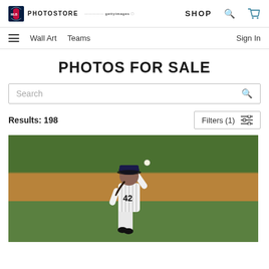MLB PHOTOSTORE | SHOP
Wall Art   Teams   Sign In
PHOTOS FOR SALE
Search
Results: 198
Filters (1)
[Figure (photo): Baseball pitcher wearing New York Yankees pinstripe uniform number 42, mid-wind-up pitch on a baseball field with green grass and dirt infield visible in background.]